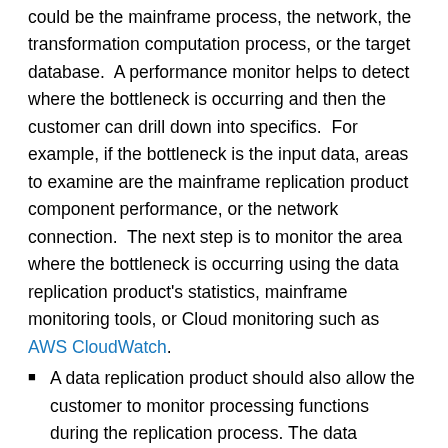could be the mainframe process, the network, the transformation computation process, or the target database.  A performance monitor helps to detect where the bottleneck is occurring and then the customer can drill down into specifics.  For example, if the bottleneck is the input data, areas to examine are the mainframe replication product component performance, or the network connection.  The next step is to monitor the area where the bottleneck is occurring using the data replication product's statistics, mainframe monitoring tools, or Cloud monitoring such as AWS CloudWatch.
A data replication product should also allow the customer to monitor processing functions during the replication process. The data replication product should also have extensive logs and traces that allow for